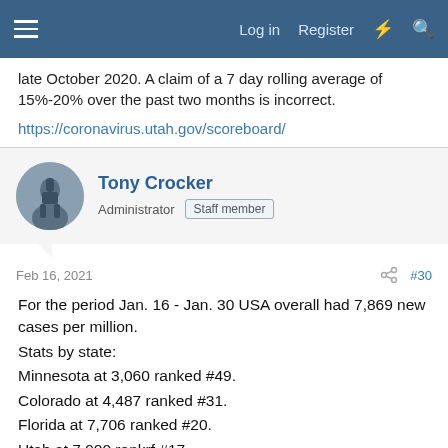Log in  Register
late October 2020. A claim of a 7 day rolling average of 15%-20% over the past two months is incorrect.
https://coronavirus.utah.gov/scoreboard/
Tony Crocker
Administrator  Staff member
Feb 16, 2021  #30
For the period Jan. 16 - Jan. 30 USA overall had 7,869 new cases per million.
Stats by state:
Minnesota at 3,060 ranked #49.
Colorado at 4,487 ranked #31.
Florida at 7,706 ranked #20.
Utah at 7,900 rankrf #17.
New Jersey at 8,608 rate ranked #16.
California at 9,954 ranked #4.